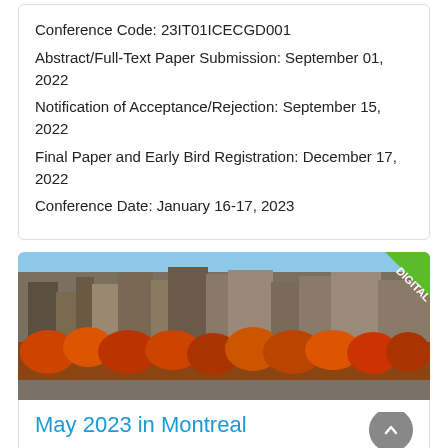Conference Code: 23IT01ICECGD001
Abstract/Full-Text Paper Submission: September 01, 2022
Notification of Acceptance/Rejection: September 15, 2022
Final Paper and Early Bird Registration: December 17, 2022
Conference Date: January 16-17, 2023
[Figure (photo): Cityscape photo of Montreal with autumn foliage, featuring urban buildings and trees with red and orange leaves. A green diagonal banner with 'DIGITAL' text overlays the top-right corner.]
May 2023 in Montreal
Conference Code: 23CA05ICECGD001